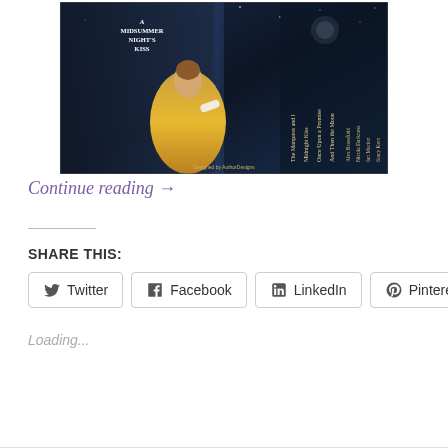[Figure (illustration): Book cover image for 'A Midsummer Night's Kiss' anthology showing a woman in a yellow ballgown against a dark starry night background. The cover lists titles: The Marquess and I, Midnight Kiss, Once Upon a Promise, And Then the Moon. Authors: Alex Brassfield, Nicola Darkness, Ian Marion, Stacy Kern. Text at bottom: Designed by AuthorDesigns.]
Continue reading →
SHARE THIS:
Twitter
Facebook
LinkedIn
Pinterest
Loading...